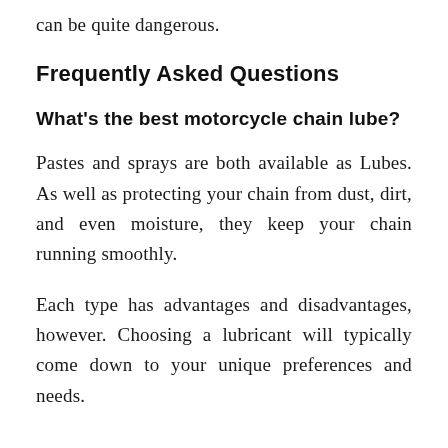can be quite dangerous.
Frequently Asked Questions
What's the best motorcycle chain lube?
Pastes and sprays are both available as Lubes. As well as protecting your chain from dust, dirt, and even moisture, they keep your chain running smoothly.
Each type has advantages and disadvantages, however. Choosing a lubricant will typically come down to your unique preferences and needs.